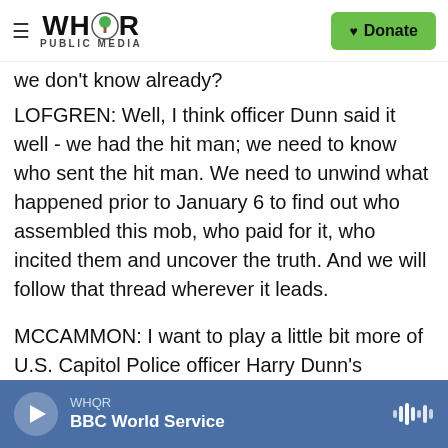WHQR PUBLIC MEDIA | Donate
we don't know already?
LOFGREN: Well, I think officer Dunn said it well - we had the hit man; we need to know who sent the hit man. We need to unwind what happened prior to January 6 to find out who assembled this mob, who paid for it, who incited them and uncover the truth. And we will follow that thread wherever it leads.
MCCAMMON: I want to play a little bit more of U.S. Capitol Police officer Harry Dunn's testimony for you about what led up to that day.
WHQR BBC World Service